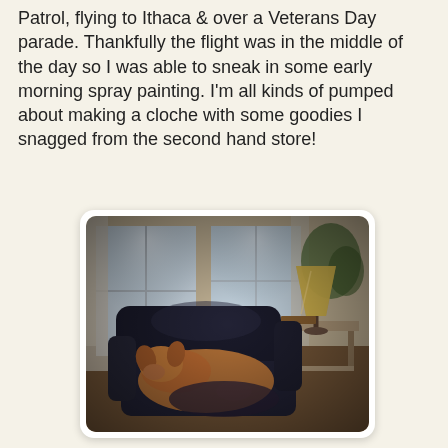Patrol, flying to Ithaca & over a Veterans Day parade. Thankfully the flight was in the middle of the day so I was able to sneak in some early morning spray painting. I'm all kinds of pumped about making a cloche with some goodies I snagged from the second hand store!
[Figure (photo): A dog sleeping curled up on a dark leather armchair in a living room. In the background there is a bright window with curtains, a side table with a Tiffany-style lamp, and some plants.]